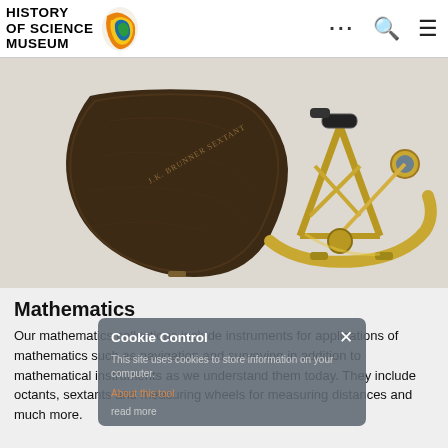History of Science Museum
[Figure (photo): A brass sextant and its triangular leather case, displayed on a light background. The leather case is dark brown and triangular, with text engraved. The brass sextant sits to its right.]
Mathematics
Our mathematics collections include instruments for applications of mathematics such as navigation and surveying in addition to mathematical instruments as we understand them today. They include octants, sextants and measuring wheels for measuring distances and much more.
Cookie Control
This site uses cookies to store information on your computer.
About this tool
read more